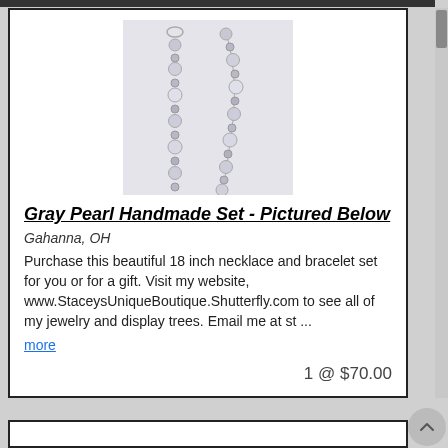[Figure (photo): Product photo of a gray pearl necklace and bracelet set against a light gray background. Two strands of alternating gray and white pearls shown vertically.]
Gray Pearl Handmade Set - Pictured Below
Gahanna, OH
Purchase this beautiful 18 inch necklace and bracelet set for you or for a gift. Visit my website, www.StaceysUniqueBoutique.Shutterfly.com to see all of my jewelry and display trees. Email me at st ...
more
1 @ $70.00